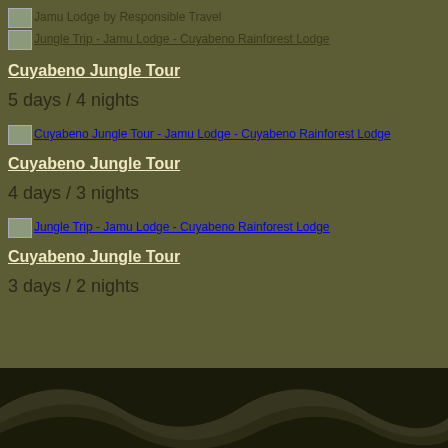Jamu Lodge by Responsible Travel
Jungle Trip - Jamu Lodge - Cuyabeno Rainforest Lodge
Cuyabeno Jungle Tour
5 days / 4 nights
[Figure (photo): Cuyabeno Jungle Tour - Jamu Lodge - Cuyabeno Rainforest Lodge image thumbnail]
Cuyabeno Jungle Tour
4 days / 3 nights
[Figure (photo): Jungle Trip - Jamu Lodge - Cuyabeno Rainforest Lodge image thumbnail]
Cuyabeno Jungle Tour
3 days / 2 nights
[Figure (illustration): Decorative wave footer illustration in dark tones]